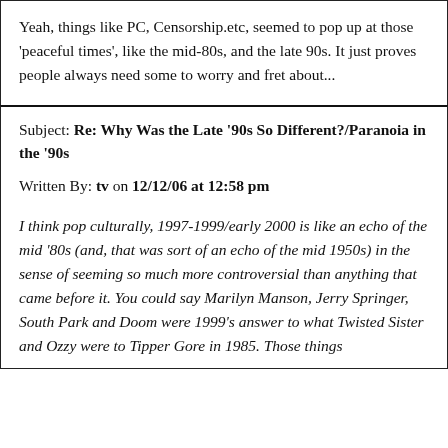Yeah, things like PC, Censorship.etc, seemed to pop up at those 'peaceful times', like the mid-80s, and the late 90s. It just proves people always need some to worry and fret about...
Subject: Re: Why Was the Late '90s So Different?/Paranoia in the '90s
Written By: tv on 12/12/06 at 12:58 pm
I think pop culturally, 1997-1999/early 2000 is like an echo of the mid '80s (and, that was sort of an echo of the mid 1950s) in the sense of seeming so much more controversial than anything that came before it. You could say Marilyn Manson, Jerry Springer, South Park and Doom were 1999's answer to what Twisted Sister and Ozzy were to Tipper Gore in 1985. Those things